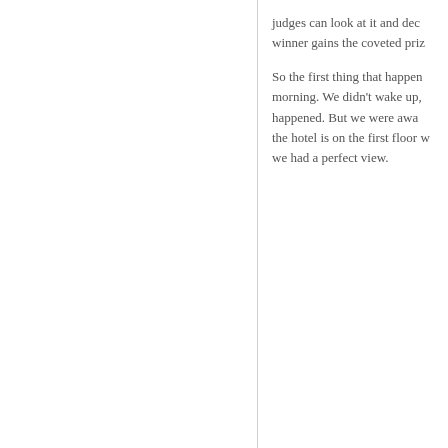judges can look at it and dec winner gains the coveted priz
So the first thing that happen morning. We didn't wake up, happened. But we were awa the hotel is on the first floor w we had a perfect view.